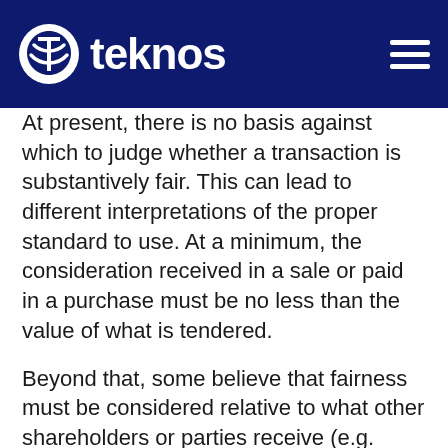teknos
At present, there is no basis against which to judge whether a transaction is substantively fair. This can lead to different interpretations of the proper standard to use. At a minimum, the consideration received in a sale or paid in a purchase must be no less than the value of what is tendered.
Beyond that, some believe that fairness must be considered relative to what other shareholders or parties receive (e.g. examine different treatment for control shareholders or generous consulting and non-compete payments for managers). Fairness also must consider other factors: comparing cash versus non-cash or contingent consideration, coordinating and evaluating competing offers, and judging the likelihood of completion of any offer. Finally, fairness must not utilize overly broad ranges or assumptions